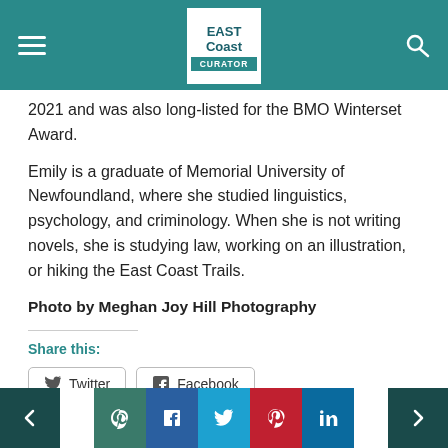East Coast Curator — navigation header
2021 and was also long-listed for the BMO Winterset Award.
Emily is a graduate of Memorial University of Newfoundland, where she studied linguistics, psychology, and criminology. When she is not writing novels, she is studying law, working on an illustration, or hiking the East Coast Trails.
Photo by Meghan Joy Hill Photography
Share this:
Twitter
Facebook
Like this:
Navigation footer with social share buttons